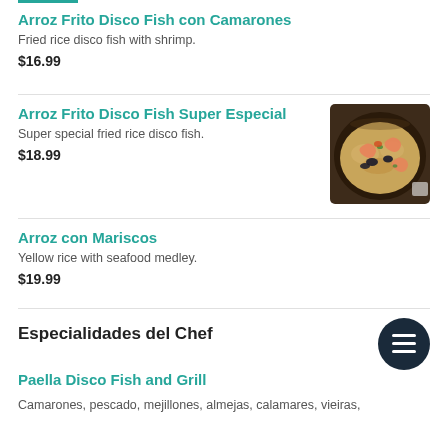Arroz Frito Disco Fish con Camarones
Fried rice disco fish with shrimp.
$16.99
Arroz Frito Disco Fish Super Especial
Super special fried rice disco fish.
$18.99
[Figure (photo): A dark pan dish with seafood fried rice, showing shrimp, mussels, and vegetables]
Arroz con Mariscos
Yellow rice with seafood medley.
$19.99
Especialidades del Chef
Paella Disco Fish and Grill
Camarones, pescado, mejillones, almejas, calamares, vieiras,